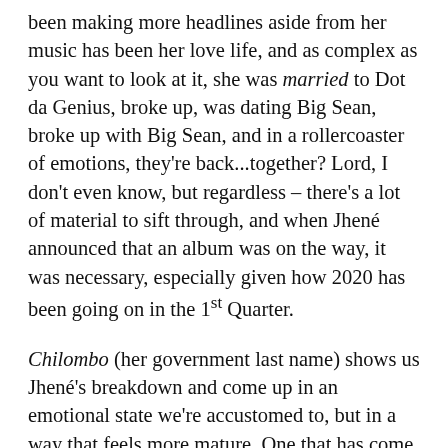been making more headlines aside from her music has been her love life, and as complex as you want to look at it, she was married to Dot da Genius, broke up, was dating Big Sean, broke up with Big Sean, and in a rollercoaster of emotions, they're back...together? Lord, I don't even know, but regardless – there's a lot of material to sift through, and when Jhené announced that an album was on the way, it was necessary, especially given how 2020 has been going on in the 1st Quarter.
Chilombo (her government last name) shows us Jhené's breakdown and come up in an emotional state we're accustomed to, but in a way that feels more mature. One that has come with more experience being in & out of love, and not the playfully innocent girl we thought was the most adorable when she came onto the scene. Whether or not you enjoy her being more vulgar or more sexual (I mean, P*$$Y Fairy is a